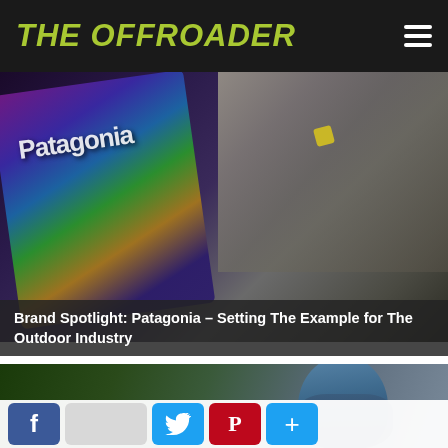THE OFFROADER
[Figure (photo): Patagonia branded bag/backpack with colorful fabric pattern alongside a bird with a yellow tag, dark moody background]
Brand Spotlight: Patagonia – Setting The Example for The Outdoor Industry
[Figure (photo): Person wearing a blue rain jacket hood in rainy outdoor conditions, green forest background]
[Figure (other): Social share buttons: Facebook, share count, Twitter, Pinterest, plus/more]